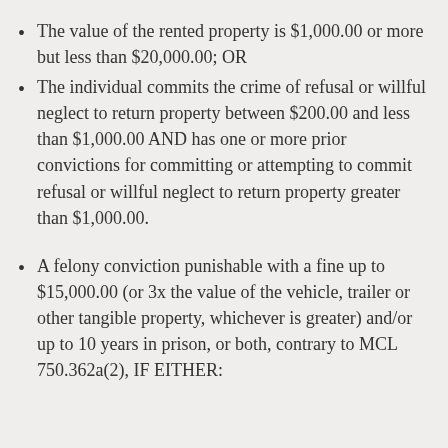The value of the rented property is $1,000.00 or more but less than $20,000.00; OR
The individual commits the crime of refusal or willful neglect to return property between $200.00 and less than $1,000.00 AND has one or more prior convictions for committing or attempting to commit refusal or willful neglect to return property greater than $1,000.00.
A felony conviction punishable with a fine up to $15,000.00 (or 3x the value of the vehicle, trailer or other tangible property, whichever is greater) and/or up to 10 years in prison, or both, contrary to MCL 750.362a(2), IF EITHER: